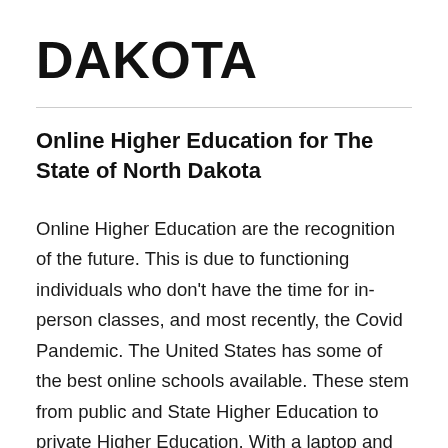DAKOTA
Online Higher Education for The State of North Dakota
Online Higher Education are the recognition of the future. This is due to functioning individuals who don't have the time for in-person classes, and most recently, the Covid Pandemic. The United States has some of the best online schools available. These stem from public and State Higher Education to private Higher Education. With a laptop and an covenant of the internet, anyone can get an education, also raising for the recognition for anyone.